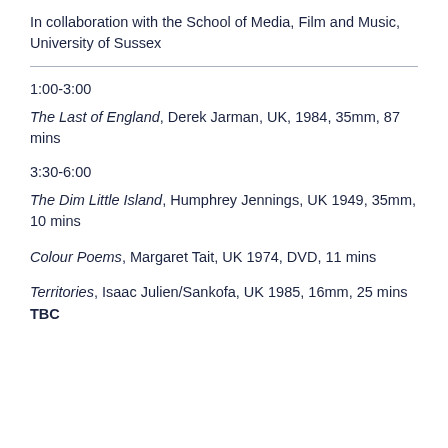In collaboration with the School of Media, Film and Music, University of Sussex
1:00-3:00
The Last of England, Derek Jarman, UK, 1984, 35mm, 87 mins
3:30-6:00
The Dim Little Island, Humphrey Jennings, UK 1949, 35mm, 10 mins
Colour Poems, Margaret Tait, UK 1974, DVD, 11 mins
Territories, Isaac Julien/Sankofa, UK 1985, 16mm, 25 mins TBC